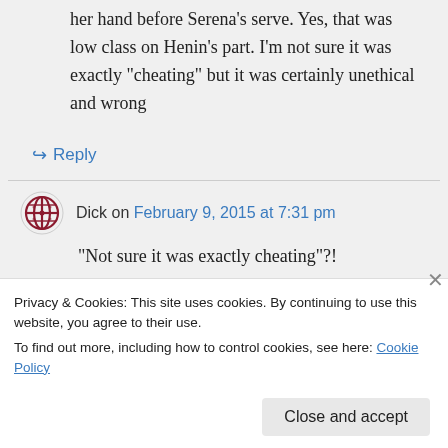her hand before Serena’s serve. Yes, that was low class on Henin’s part. I’m not sure it was exactly “cheating” but it was certainly unethical and wrong
↪ Reply
Dick on February 9, 2015 at 7:31 pm
“Not sure it was exactly cheating”?! Seriously! I take something that
Privacy & Cookies: This site uses cookies. By continuing to use this website, you agree to their use.
To find out more, including how to control cookies, see here: Cookie Policy
Close and accept